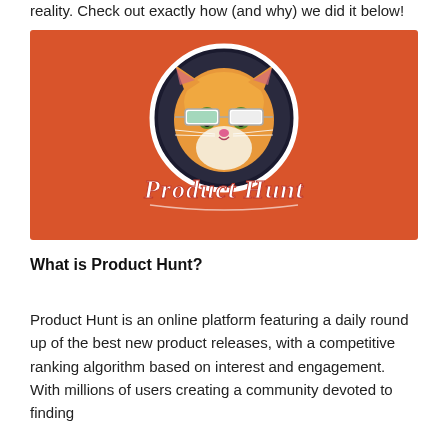reality. Check out exactly how (and why) we did it below!
[Figure (illustration): Product Hunt logo image: orange/red background with a kitten wearing Google Glass in a circular frame and 'Product Hunt' written in white cursive script below]
What is Product Hunt?
Product Hunt is an online platform featuring a daily round up of the best new product releases, with a competitive ranking algorithm based on interest and engagement. With millions of users creating a community devoted to finding